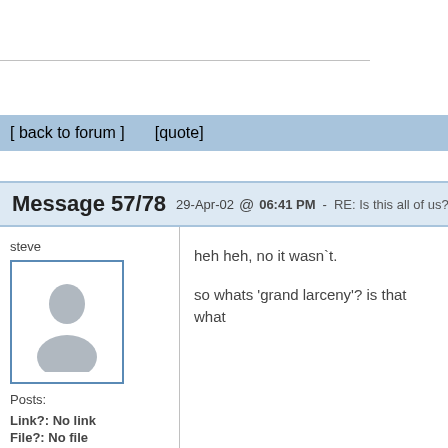[ back to forum ]   [quote]
Message 57/78   29-Apr-02 @ 06:41 PM  -  RE: Is this all of us?
steve
Posts:
Link?:  No link
File?:  No file
heh heh, no it wasn`t.

so whats 'grand larceny'? is that what